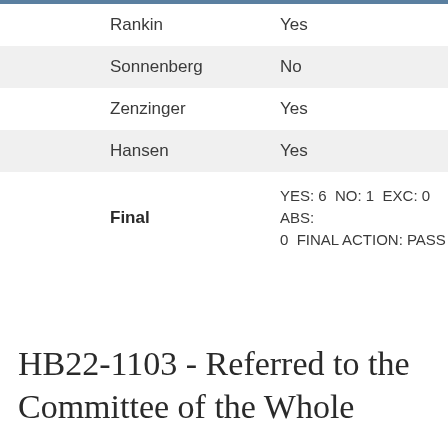| Name | Vote |
| --- | --- |
| Rankin | Yes |
| Sonnenberg | No |
| Zenzinger | Yes |
| Hansen | Yes |
| Final | YES: 6  NO: 1  EXC: 0  ABS: 0  FINAL ACTION: PASS |
HB22-1103 - Referred to the Committee of the Whole